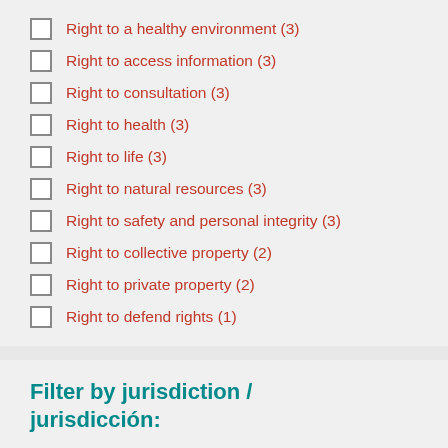Right to a healthy environment (3)
Right to access information (3)
Right to consultation (3)
Right to health (3)
Right to life (3)
Right to natural resources (3)
Right to safety and personal integrity (3)
Right to collective property (2)
Right to private property (2)
Right to defend rights (1)
Filter by jurisdiction / jurisdicción:
Inter-American System (1)
International Peoples Health Tribunal (1)